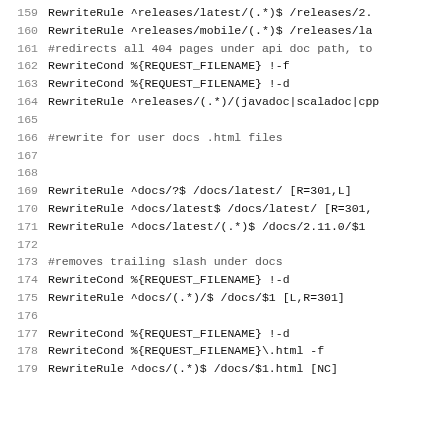159  RewriteRule ^releases/latest/(.*)$ /releases/2...
160  RewriteRule ^releases/mobile/(.*)$ /releases/la...
161  #redirects all 404 pages under api doc path, to...
162  RewriteCond %{REQUEST_FILENAME} !-f
163  RewriteCond %{REQUEST_FILENAME} !-d
164  RewriteRule ^releases/(.*)/(javadoc|scaladoc|cpp...
165
166  #rewrite for user docs .html files
167
168
169  RewriteRule ^docs/?$ /docs/latest/ [R=301,L]
170  RewriteRule ^docs/latest$ /docs/latest/ [R=301,...
171  RewriteRule ^docs/latest/(.*)$ /docs/2.11.0/$1
172
173  #removes trailing slash under docs
174  RewriteCond %{REQUEST_FILENAME} !-d
175  RewriteRule ^docs/(.*)/$ /docs/$1 [L,R=301]
176
177  RewriteCond %{REQUEST_FILENAME} !-d
178  RewriteCond %{REQUEST_FILENAME}\.html -f
179  RewriteRule ^docs/(.*)$ /docs/$1.html [NC]